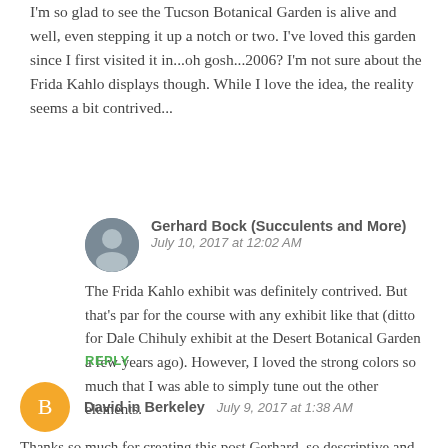I'm so glad to see the Tucson Botanical Garden is alive and well, even stepping it up a notch or two. I've loved this garden since I first visited it in...oh gosh...2006? I'm not sure about the Frida Kahlo displays though. While I love the idea, the reality seems a bit contrived...
Gerhard Bock (Succulents and More)
July 10, 2017 at 12:02 AM
The Frida Kahlo exhibit was definitely contrived. But that's par for the course with any exhibit like that (ditto for Dale Chihuly exhibit at the Desert Botanical Garden a few years ago). However, I loved the strong colors so much that I was able to simply tune out the other elements.
REPLY
David in Berkeley  July 9, 2017 at 1:38 AM
Thanks so much for creating this post Gerhard, so descriptive and informative at the same time. It's been at least 30 years since my last visit, obviously time to get back to Arizona again. Just curious, what made